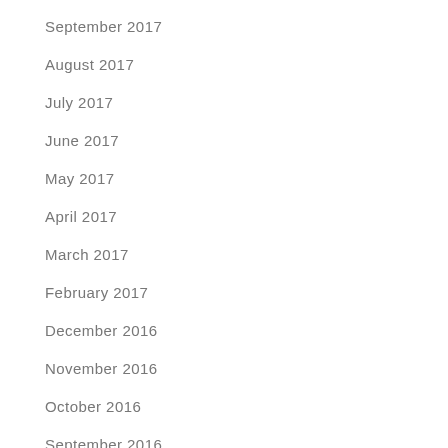September 2017
August 2017
July 2017
June 2017
May 2017
April 2017
March 2017
February 2017
December 2016
November 2016
October 2016
September 2016
August 2016
July 2016
June 2016